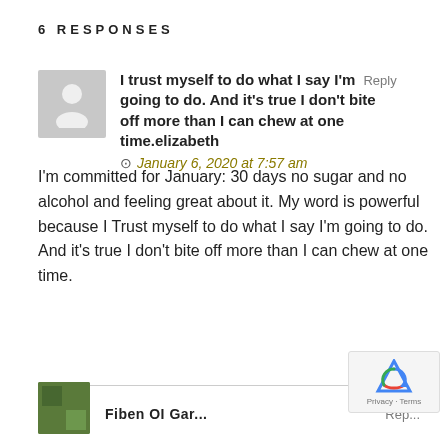6 RESPONSES
I trust myself to do what I say I'm going to do. And it's true I don't bite off more than I can chew at one time.elizabeth
January 6, 2020 at 7:57 am
I'm committed for January: 30 days no sugar and no alcohol and feeling great about it. My word is powerful because I Trust myself to do what I say I'm going to do. And it's true I don't bite off more than I can chew at one time.